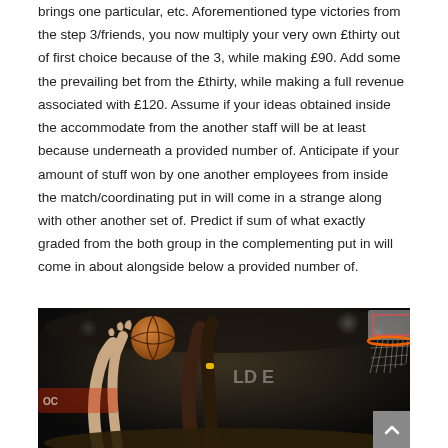brings one particular, etc. Aforementioned type victories from the step 3/friends, you now multiply your very own £thirty out of first choice because of the 3, while making £90. Add some the prevailing bet from the £thirty, while making a full revenue associated with £120. Assume if your ideas obtained inside the accommodate from the another staff will be at least because underneath a provided number of. Anticipate if your amount of stuff won by one another employees from inside the match/coordinating put in will come in a strange along with other another set of. Predict if sum of what exactly graded from the both group in the complementing put in will come in about alongside below a provided number of.
[Figure (photo): Basketball game action photo showing players reaching up near a basketball hoop, with a basketball visible in the air. Dark arena background with lights and audience.]